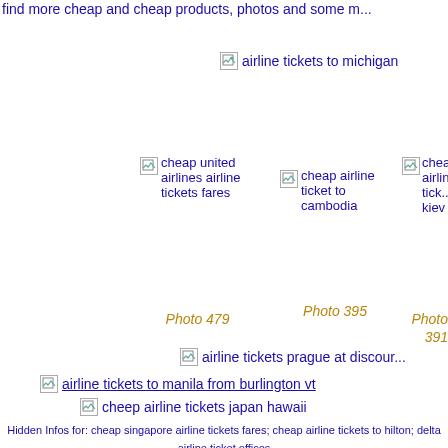find more cheap and cheap products, photos and some m...
[Figure (other): Broken image placeholder for 'airline tickets to michigan']
[Figure (other): Broken image placeholder for 'cheap united airlines airline tickets fares']
Photo 479
[Figure (other): Broken image placeholder for 'cheap airline ticket to cambodia']
Photo 395
[Figure (other): Broken image placeholder for 'cheap airline tick... kiev']
Photo 391
[Figure (other): Broken image placeholder for 'airline tickets prague at discour...']
[Figure (other): Broken image placeholder for 'airline tickets to manila from burlington vt']
[Figure (other): Broken image placeholder for 'cheep airline tickets japan hawaii']
Hidden Infos for: cheap singapore airline tickets fares; cheap airline tickets to hilton; delta airline ticket offices